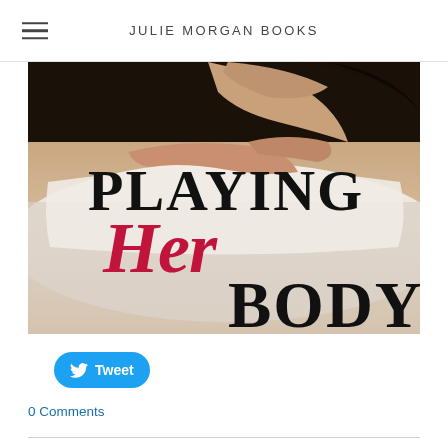JULIE MORGAN BOOKS
[Figure (illustration): Book cover for 'Playing Her Body' by Julie Morgan. Shows a person lying on white bedding, with large bold text reading 'PLAYING Her Body' where 'Her' is in pink/crimson italic script and the other words are in black serif font.]
Tweet
0 Comments